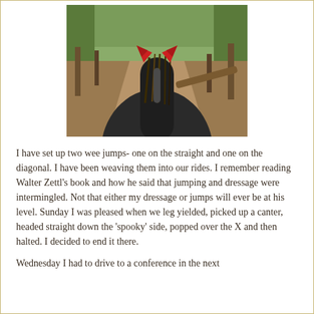[Figure (photo): View from horseback on a trail through woods, looking down the horse's mane and neck. The horse has red ear covers/ear bonnets. The trail is dirt with fallen branches and greenery visible in the background.]
I have set up two wee jumps- one on the straight and one on the diagonal. I have been weaving them into our rides. I remember reading Walter Zettl's book and how he said that jumping and dressage were intermingled. Not that either my dressage or jumps will ever be at his level. Sunday I was pleased when we leg yielded, picked up a canter, headed straight down the 'spooky' side, popped over the X and then halted. I decided to end it there.
Wednesday I had to drive to a conference in the next